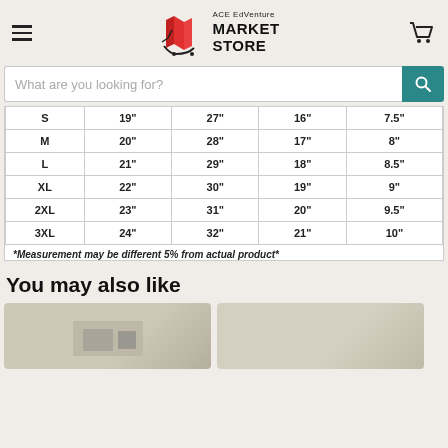ACE EdVenture MARKET STORE
What are you looking for?
| S | 19" | 27" | 16" | 7.5" |
| M | 20" | 28" | 17" | 8" |
| L | 21" | 29" | 18" | 8.5" |
| XL | 22" | 30" | 19" | 9" |
| 2XL | 23" | 31" | 20" | 9.5" |
| 3XL | 24" | 32" | 21" | 10" |
*Measurement may be different 5% from actual product*
You may also like
[Figure (photo): Product thumbnail card 1]
[Figure (photo): Product thumbnail card 2]